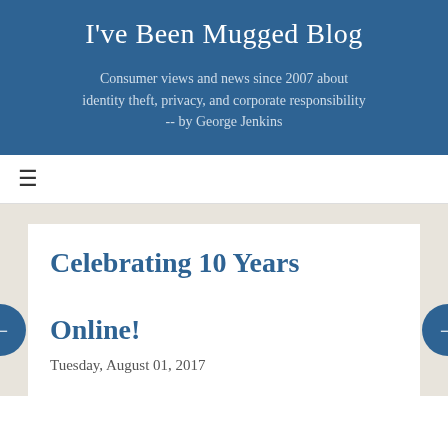I've Been Mugged Blog
Consumer views and news since 2007 about identity theft, privacy, and corporate responsibility -- by George Jenkins
≡
Celebrating 10 Years Online!
Tuesday, August 01, 2017